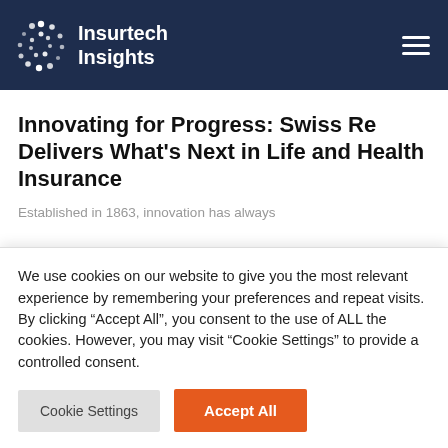Insurtech Insights
Innovating for Progress: Swiss Re Delivers What’s Next in Life and Health Insurance
Established in 1863, innovation has always...
We use cookies on our website to give you the most relevant experience by remembering your preferences and repeat visits. By clicking “Accept All”, you consent to the use of ALL the cookies. However, you may visit “Cookie Settings” to provide a controlled consent.
Cookie Settings | Accept All